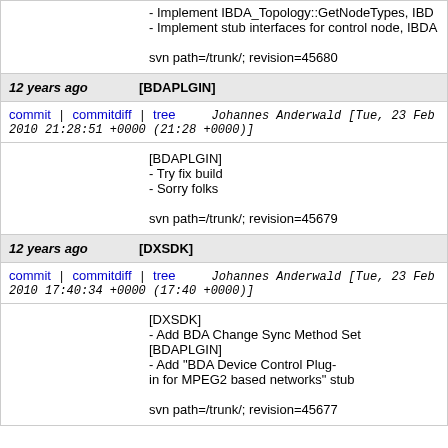- Implement IBDA_Topology::GetNodeTypes, IBDA...
- Implement stub interfaces for control node, IBDA...

svn path=/trunk/; revision=45680
12 years ago   [BDAPLGIN]
commit | commitdiff | tree   Johannes Anderwald [Tue, 23 Feb 2010 21:28:51 +0000 (21:28 +0000)]
[BDAPLGIN]
- Try fix build
- Sorry folks

svn path=/trunk/; revision=45679
12 years ago   [DXSDK]
commit | commitdiff | tree   Johannes Anderwald [Tue, 23 Feb 2010 17:40:34 +0000 (17:40 +0000)]
[DXSDK]
- Add BDA Change Sync Method Set
[BDAPLGIN]
- Add "BDA Device Control Plug-in for MPEG2 based networks" stub

svn path=/trunk/; revision=45677